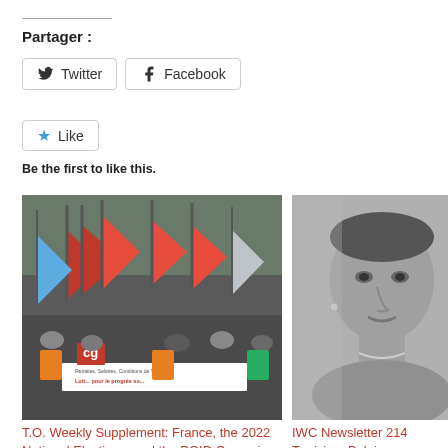Partager :
[Figure (other): Twitter share button]
[Figure (other): Facebook share button]
[Figure (other): Like button with star icon]
Be the first to like this.
[Figure (photo): Crowd of protesters with union flags and banners, France workers rally]
T.O. Weekly Supplement: France, the 2022 National Elections, and the POID Campaigns
June 1, 2022
In "For a Workers' International"
[Figure (photo): Black and white portrait of a young man]
IWC Newsletter 214 Tunisia – Belgium
June 30, 2022
In "EN"